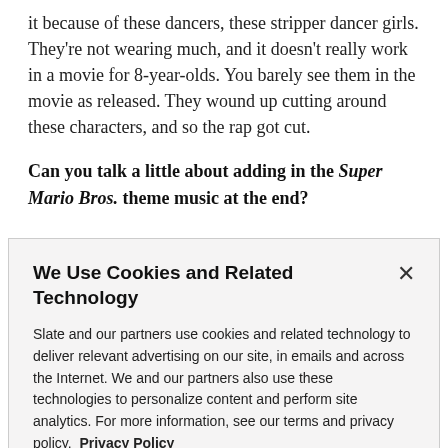it because of these dancers, these stripper dancer girls. They're not wearing much, and it doesn't really work in a movie for 8-year-olds. You barely see them in the movie as released. They wound up cutting around these characters, and so the rap got cut.
Can you talk a little about adding in the Super Mario Bros. theme music at the end?
We Use Cookies and Related Technology
Slate and our partners use cookies and related technology to deliver relevant advertising on our site, in emails and across the Internet. We and our partners also use these technologies to personalize content and perform site analytics. For more information, see our terms and privacy policy. Privacy Policy
OK